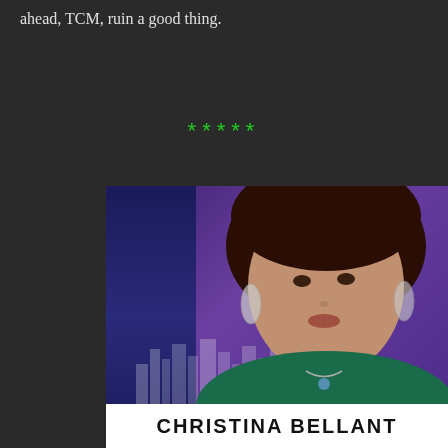ahead, TCM, ruin a good thing.
*****
[Figure (photo): TV screenshot of a woman with long dark brown hair with a blonde streak, wearing a green top and a necklace, in front of a purple and blue studio background with a city skyline. A lower-third chyron reads CHRISTINA BELLANT (partially visible).]
CHRISTINA BELLANT